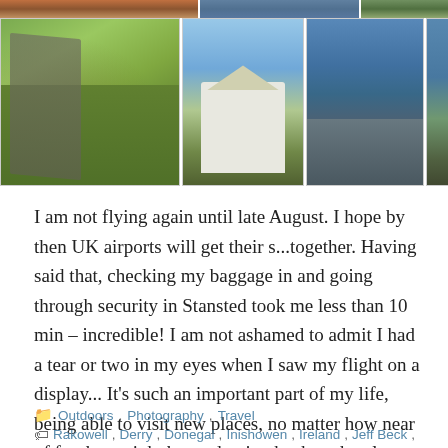[Figure (photo): Top strip of landscape/travel photos in a grid collage: stone ruins, coastal scenery, green hills]
[Figure (photo): Bottom row of four travel photos: winding stone path in green landscape, white thatched cottage with garden, rocky coastal view, narrow coastal road]
I am not flying again until late August. I hope by then UK airports will get their s...together. Having said that, checking my baggage in and going through security in Stansted took me less than 10 min – incredible! I am not ashamed to admit I had a tear or two in my eyes when I saw my flight on a display... It's such an important part of my life, being able to visit new places, no matter how near of far they might be, and going back to the places I love. There is nothing better.
Outdoors, Photography, Travel
Rakowell, Derry, Donegal, Inishowen, Ireland, Jeff Beck, JOhnny